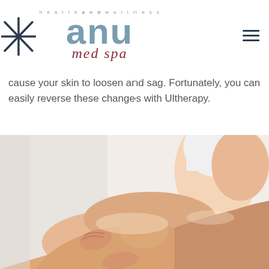health and wellness anu med spa [logo with star]
cause your skin to loosen and sag. Fortunately, you can easily reverse these changes with Ultherapy.
[Figure (photo): Photo of a woman in white swimwear sitting with smooth, toned legs crossed, touching her legs with her hands, against a light background.]